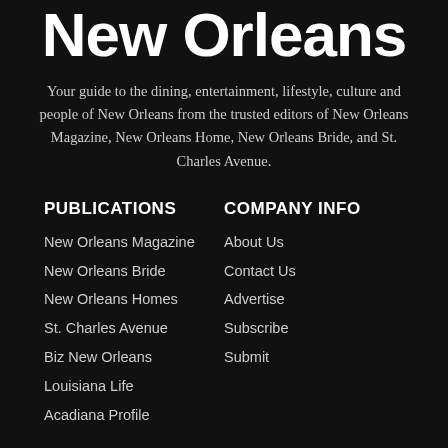New Orleans
Your guide to the dining, entertainment, lifestyle, culture and people of New Orleans from the trusted editors of New Orleans Magazine, New Orleans Home, New Orleans Bride, and St. Charles Avenue.
PUBLICATIONS
New Orleans Magazine
New Orleans Bride
New Orleans Homes
St. Charles Avenue
Biz New Orleans
Louisiana Life
Acadiana Profile
COMPANY INFO
About Us
Contact Us
Advertise
Subscribe
Submit
FOLLOW US